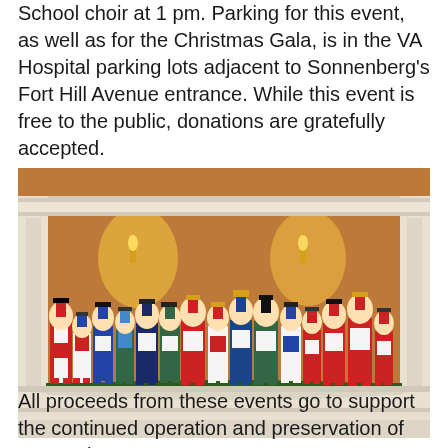School choir at 1 pm. Parking for this event, as well as for the Christmas Gala, is in the VA Hospital parking lots adjacent to Sonnenberg's Fort Hill Avenue entrance. While this event is free to the public, donations are gratefully accepted.
[Figure (photo): A row of colorful nutcracker figurines displayed on a fireplace mantel decorated with greenery, inside an ornate room with warm lighting and decorative wallpaper.]
All proceeds from these events go to support the continued operation and preservation of Sonnenberg